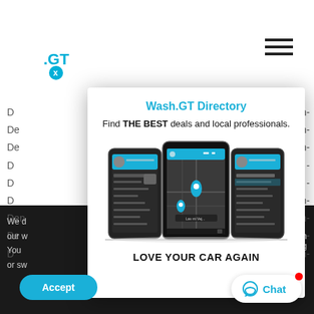[Figure (screenshot): Background webpage with partial text and navigation elements]
[Figure (screenshot): Modal popup for Wash.GT Directory app showing three smartphone mockups displaying the app interface with a map and menu screens]
Wash.GT Directory
Find THE BEST deals and local professionals.
LOVE YOUR CAR AGAIN
Accept
Chat